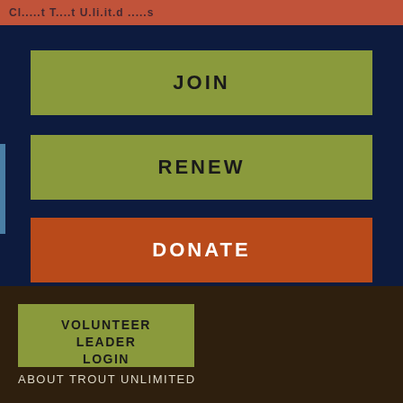Trout Unlimited
JOIN
RENEW
DONATE
VOLUNTEER LEADER LOGIN
ABOUT TROUT UNLIMITED
CONTACT US
FAQ
MEDIA
CAREERS